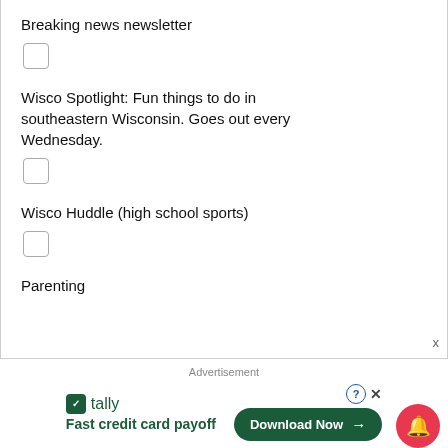Breaking news newsletter
Wisco Spotlight: Fun things to do in southeastern Wisconsin. Goes out every Wednesday.
Wisco Huddle (high school sports)
Parenting
[Figure (screenshot): Advertisement banner for Tally app: 'Fast credit card payoff' with a 'Download Now' button and a notification bell icon.]